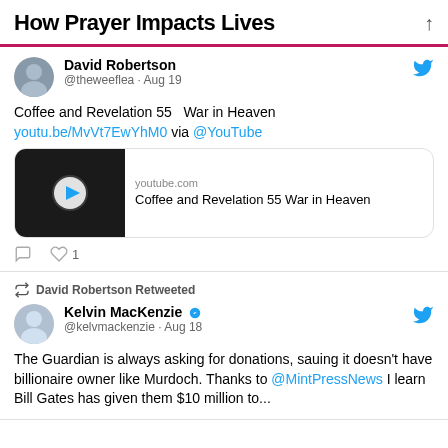How Prayer Impacts Lives
David Robertson @theweeflea · Aug 19
Coffee and Revelation 55   War in Heaven youtu.be/MvVt7EwYhM0 via @YouTube
[Figure (screenshot): YouTube video card: youtube.com - Coffee and Revelation 55 War in Heaven]
1 like
David Robertson Retweeted
Kelvin MacKenzie @kelvmackenzie · Aug 18
The Guardian is always asking for donations, sauing it doesn't have billionaire owner like Murdoch. Thanks to @MintPressNews I learn Bill Gates has given them $10 million to...